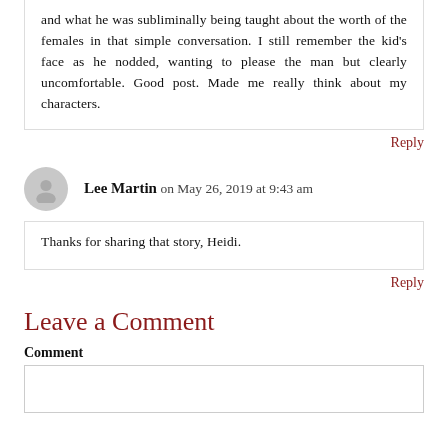and what he was subliminally being taught about the worth of the females in that simple conversation. I still remember the kid’s face as he nodded, wanting to please the man but clearly uncomfortable. Good post. Made me really think about my characters.
Reply
Lee Martin on May 26, 2019 at 9:43 am
Thanks for sharing that story, Heidi.
Reply
Leave a Comment
Comment